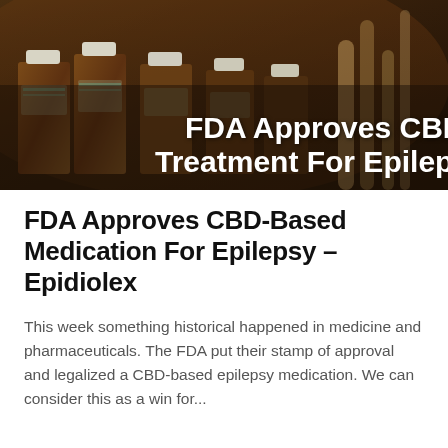[Figure (photo): Photo of brown medicine bottles with white caps arranged in a row, with overlaid white bold text reading 'FDA Approves CBD Treatment For Epilepsy' partially visible]
FDA Approves CBD-Based Medication For Epilepsy – Epidiolex
This week something historical happened in medicine and pharmaceuticals. The FDA put their stamp of approval and legalized a CBD-based epilepsy medication. We can consider this as a win for...